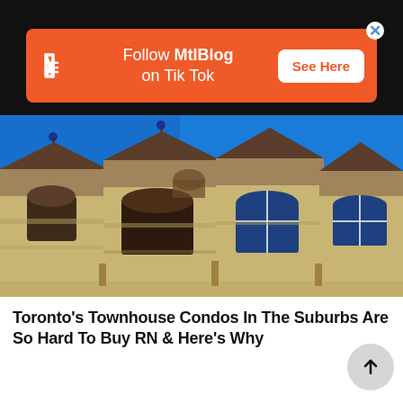[Figure (screenshot): Orange MtlBlog TikTok advertisement banner with logo, text 'Follow MtlBlog on Tik Tok', and 'See Here' button]
[Figure (photo): Close-up photo of suburban Toronto townhouse condos with beige/tan stucco facade, dark roof peaks, arched windows against bright blue sky]
Toronto's Townhouse Condos In The Suburbs Are So Hard To Buy RN & Here's Why
[Figure (photo): Street-level view of Toronto suburban downtown area with high-rise condos, bare autumn trees, Zenna sign visible, and modern glass office buildings]